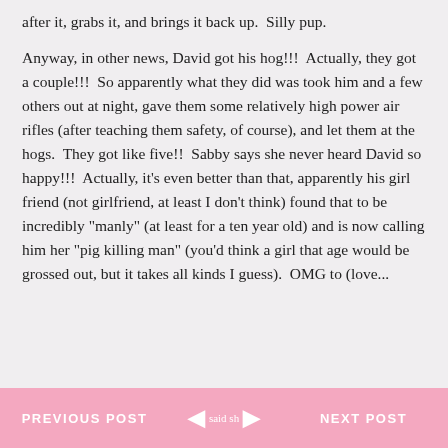after it, grabs it, and brings it back up.  Silly pup.
Anyway, in other news, David got his hog!!!  Actually, they got a couple!!!  So apparently what they did was took him and a few others out at night, gave them some relatively high power air rifles (after teaching them safety, of course), and let them at the hogs.  They got like five!!  Sabby says she never heard David so happy!!!  Actually, it's even better than that, apparently his girl friend (not girlfriend, at least I don't think) found that to be incredibly "manly" (at least for a ten year old) and is now calling him her "pig killing man" (you'd think a girl that age would be grossed out, but it takes all kinds I guess).  OMG to (love...
PREVIOUS POST  ◄  said sh  ►  NEXT POST